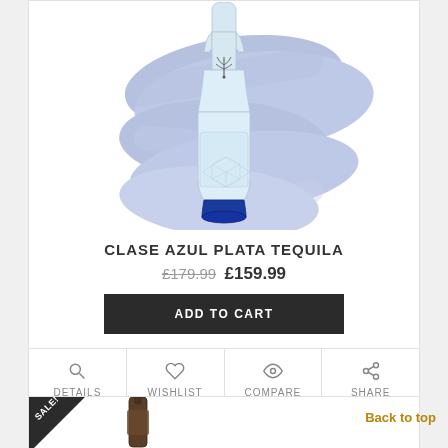[Figure (photo): Clase Azul Plata Tequila bottle with blue brushstroke background illustration]
CLASE AZUL PLATA TEQUILA
£179.99 £159.99
ADD TO CART
DETAILS  WISHLIST  COMPARE  SHARE
Back to top